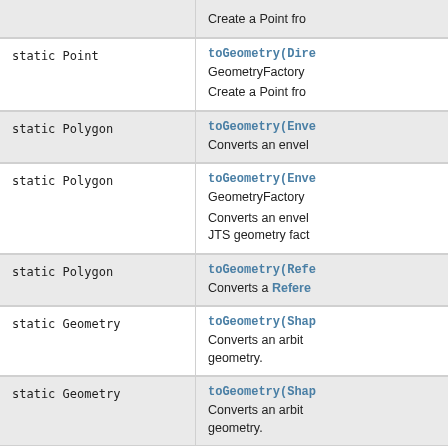| Return Type | Method and Description |
| --- | --- |
|  | Create a Point fro |
| static Point | toGeometry(Dire
GeometryFactory
Create a Point fro |
| static Polygon | toGeometry(Enve
Converts an envel |
| static Polygon | toGeometry(Enve
GeometryFactory
Converts an envel
JTS geometry fact |
| static Polygon | toGeometry(Refe
Converts a Reference |
| static Geometry | toGeometry(Shap
Converts an arbit
geometry. |
| static Geometry | toGeometry(Shap
Converts an arbit
geometry. |